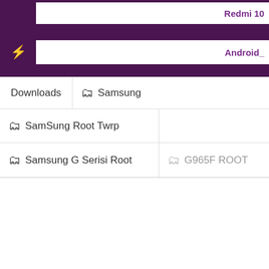Redmi 10
Android_
Downloads
Samsung
SamSung Root Twrp
Samsung G Serisi Root
G965F ROOT